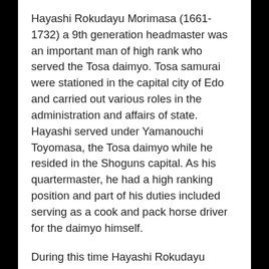Hayashi Rokudayu Morimasa (1661-1732) a 9th generation headmaster was an important man of high rank who served the Tosa daimyo. Tosa samurai were stationed in the capital city of Edo and carried out various roles in the administration and affairs of state. Hayashi served under Yamanouchi Toyomasa, the Tosa daimyo while he resided in the Shoguns capital. As his quartermaster, he had a high ranking position and part of his duties included serving as a cook and pack horse driver for the daimyo himself.
During this time Hayashi Rokudayu studied under the watchful eye of the seventh and eighth headmasters of the ryu. His sword studies were varied as he took instruction in the Shinkage Itto Ryu and Shinkage Ryu as well. He eventually succeeded Arai Seitetsu Kiyonobu as the leader of the Shinmei